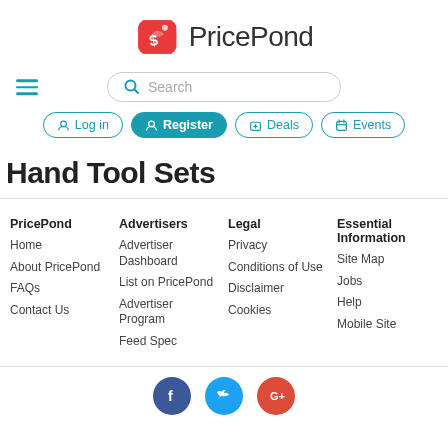[Figure (logo): PricePond logo with red price tag icon and text 'PricePond']
[Figure (screenshot): Search bar with magnifying glass icon and placeholder text 'Search']
[Figure (screenshot): Navigation buttons: Log in, Register (filled teal), Deals, Events]
Hand Tool Sets
PricePond
Home
About PricePond
FAQs
Contact Us
Advertisers
Advertiser Dashboard
List on PricePond
Advertiser Program
Feed Spec
Legal
Privacy
Conditions of Use
Disclaimer
Cookies
Essential Information
Site Map
Jobs
Help
Mobile Site
[Figure (illustration): Social media icons: Facebook (blue), Twitter (teal), Google+ (red) circles, partially visible at bottom]